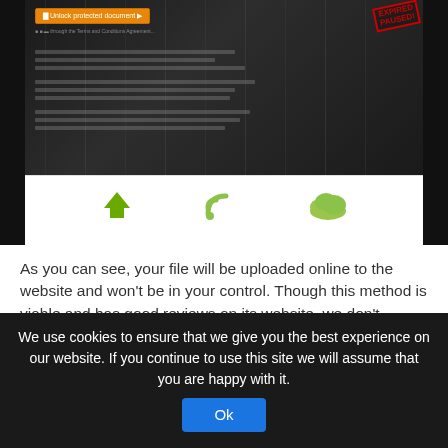[Figure (screenshot): Screenshot of a website showing a dark server-room background with an orange button in top-left, a red 'EXPIRED / PAUSED' stamp in top-right, small text lines, and a white section below with green icons (upload, RSS, cloud).]
As you can see, your file will be uploaded online to the website and won't be in your control. Though this method is viable and has good reviews on its website, we don't recommend this due to security issues as discussed.
Conclusion
Overall, these are the best ways to decrypt password protected Word document. You can for the VBA method but keep in mind, it is a bit cumbersome as it requires the handling of code. For first time users, it can be tough. You can also go for online help but due to security issues, we don't recommend it at all. The content in this article asserts the three ...
We use cookies to ensure that we give you the best experience on our website. If you continue to use this site we will assume that you are happy with it.